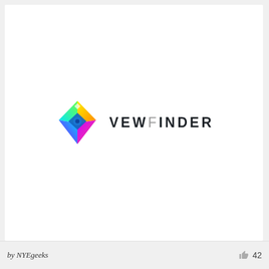[Figure (logo): VEWFINDER logo — colorful diamond/rhombus icon on left with gradient colors (green, cyan, blue, purple, magenta, yellow) and a blue eye shape in center, followed by bold all-caps text VEWFINDER with letter F in lighter weight]
by NYEgeeks   42